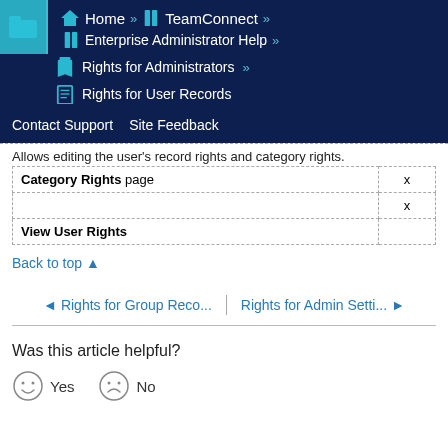Home » TeamConnect » Enterprise Administrator Help » Rights for Administrators » Rights for User Records
Contact Support  Site Feedback
Allows editing the user's record rights and category rights.
| Category Rights page | x |
|  | x |
| View User Rights |  |
Back to top ▲
◄ Rights for Group Reco...  |  Rights for Admin Setti... ►
Was this article helpful?
☺ Yes   ☹ No